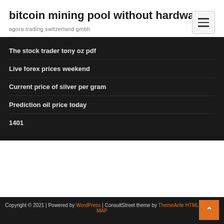bitcoin mining pool without hardware
agora trading switzerland gmbh
The stock trader tony oz pdf
Live forex prices weekend
Current price of silver per gram
Prediction oil price today
1401
Copyright © 2021 | Powered by WordPress | ConsultStreet theme by ThemeArile HTML MAP